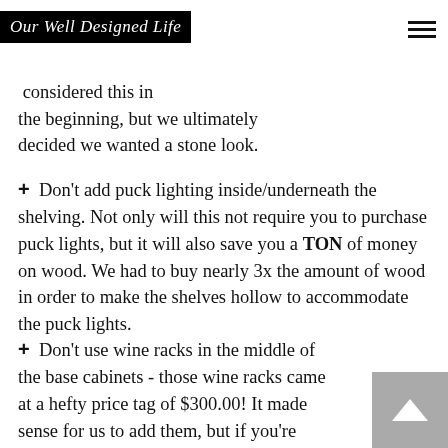Our Well Designed Life
our black fireplace? Paint the shiplap considered this the beginning, but we ultimately decided we wanted a stone look.
+ Don't add puck lighting inside/underneath the shelving. Not only will this not require you to purchase puck lights, but it will also save you a TON of money on wood. We had to buy nearly 3x the amount of wood in order to make the shelves hollow to accommodate the puck lights.
+ Don't use wine racks in the middle of the base cabinets - those wine racks came at a hefty price tag of $300.00! It made sense for us to add them, but if you're looking for a typical built-in